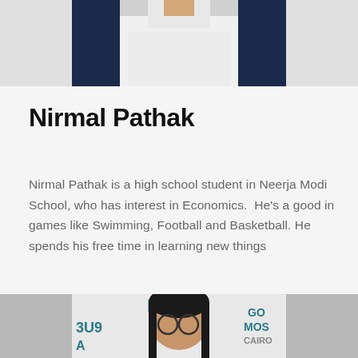[Figure (photo): Top portion of a person wearing a white t-shirt and dark jacket, cropped at the torso/chest area, shown against a light background]
Nirmal Pathak
Nirmal Pathak is a high school student in Neerja Modi School, who has interest in Economics. He's a good in games like Swimming, Football and Basketball. He spends his free time in learning new things
[Figure (photo): Photo of a young woman with long dark hair wearing round glasses, smiling, with text/signage visible in the background]